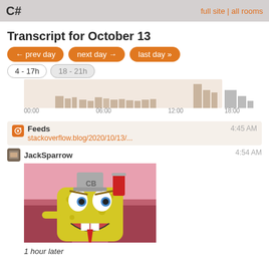C#    full site | all rooms
Transcript for October 13
← prev day
next day →
last day »
4 - 17h
18 - 21h
[Figure (histogram): Activity histogram chart showing message frequency over time with time labels 00:00, 06:00, 12:00, 18:00]
Feeds   4:45 AM
stackoverflow.blog/2020/10/13/...
JackSparrow   4:54 AM
[Figure (photo): Spongebob meme image showing SpongeBob SquarePants making an angry/shocked face]
1 hour later